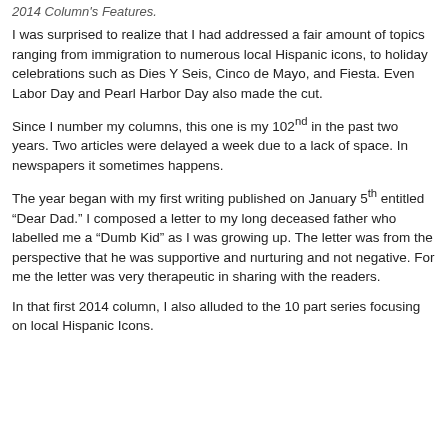2014 Column's Features.
I was surprised to realize that I had addressed a fair amount of topics ranging from immigration to numerous local Hispanic icons, to holiday celebrations such as Dies Y Seis, Cinco de Mayo, and Fiesta. Even Labor Day and Pearl Harbor Day also made the cut.
Since I number my columns, this one is my 102nd in the past two years. Two articles were delayed a week due to a lack of space. In newspapers it sometimes happens.
The year began with my first writing published on January 5th entitled “Dear Dad.” I composed a letter to my long deceased father who labelled me a “Dumb Kid” as I was growing up. The letter was from the perspective that he was supportive and nurturing and not negative. For me the letter was very therapeutic in sharing with the readers.
In that first 2014 column, I also alluded to the 10 part series focusing on local Hispanic Icons.